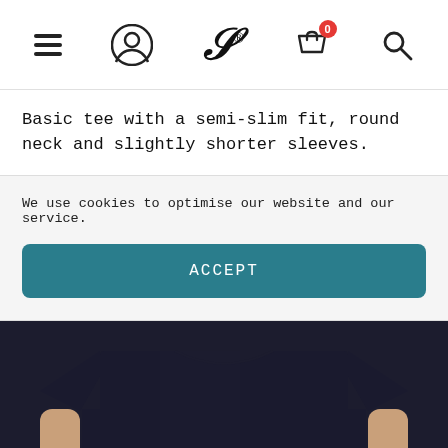[Figure (screenshot): Navigation bar with hamburger menu, user profile icon, stylized S logo with registered mark, shopping bag icon with badge showing 0, and search icon]
Basic tee with a semi-slim fit, round neck and slightly shorter sleeves.
We use cookies to optimise our website and our service.
ACCEPT
[Figure (photo): Person wearing a plain black short-sleeve t-shirt, cropped to show torso and arms on a light background]